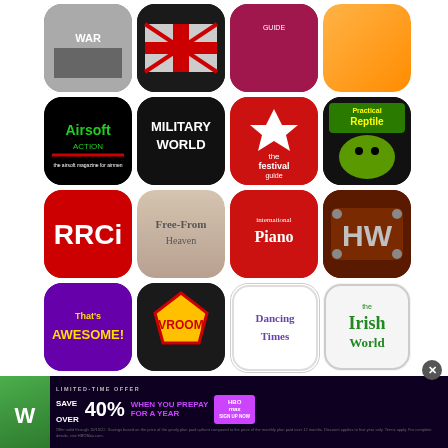[Figure (screenshot): Grid of app icons for various magazine and media apps including Airsoft Action, Military World, The Festival Guide, Practical Reptile, RRCi, Free-From Heaven, International Piano, HW, That's Awesome!, Vroom, Dancing Times, The Irish World, FII, a flame/drop app, Food Heaven, and Freelance Photographer]
[Figure (screenshot): HBO Max advertisement banner: LIMITED-TIME OFFER SAVE OVER 40% WHEN YOU PREPAY FOR A YEAR with HBO Max sign up now button and fine print]